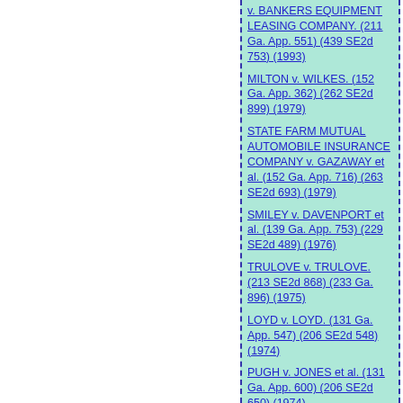v. BANKERS EQUIPMENT LEASING COMPANY. (211 Ga. App. 551) (439 SE2d 753) (1993)
MILTON v. WILKES. (152 Ga. App. 362) (262 SE2d 899) (1979)
STATE FARM MUTUAL AUTOMOBILE INSURANCE COMPANY v. GAZAWAY et al. (152 Ga. App. 716) (263 SE2d 693) (1979)
SMILEY v. DAVENPORT et al. (139 Ga. App. 753) (229 SE2d 489) (1976)
TRULOVE v. TRULOVE. (213 SE2d 868) (233 Ga. 896) (1975)
LOYD v. LOYD. (131 Ga. App. 547) (206 SE2d 548) (1974)
PUGH v. JONES et al. (131 Ga. App. 600) (206 SE2d 650) (1974)
CAMPBELL v. CAMPBELL; and vice versa. (200 SE2d 899) (231 Ga. 214) (1973)
LOGAN v. NUNNELLY et al. (128 Ga. App. 43) (195 SE2d